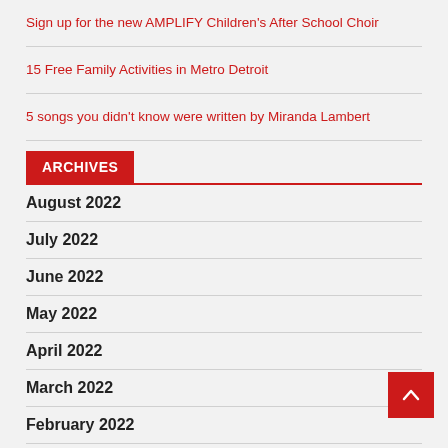Sign up for the new AMPLIFY Children’s After School Choir
15 Free Family Activities in Metro Detroit
5 songs you didn’t know were written by Miranda Lambert
ARCHIVES
August 2022
July 2022
June 2022
May 2022
April 2022
March 2022
February 2022